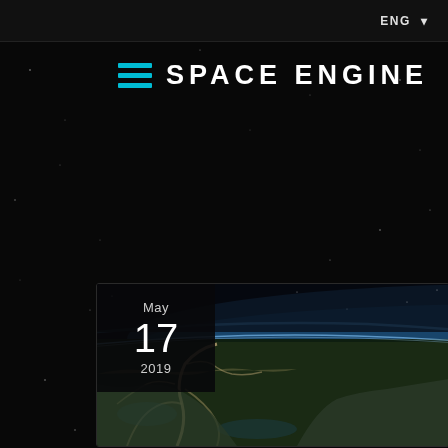ENG ▼
SPACE ENGINE
[Figure (screenshot): Space Engine website screenshot showing dark space background with star field, hamburger menu icon in cyan/teal color, and 'SPACE ENGINE' logo text in white. Below is a card with a date badge showing May 17 2019, and an aerial/orbital photograph of Earth showing a river delta and coastline with blue atmosphere visible at the horizon.]